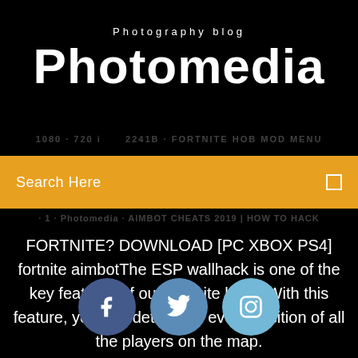Photography blog
Photomedia
Search Here
FORTNITE? DOWNLOAD [PC XBOX PS4] fortnite aimbotThe ESP wallhack is one of the key features of our Fortnite hack. With this feature, you can determine every position of all the players on the map.
[Figure (illustration): Three social media icon circles: Facebook (dark blue), Twitter (medium blue), Instagram (light blue)]